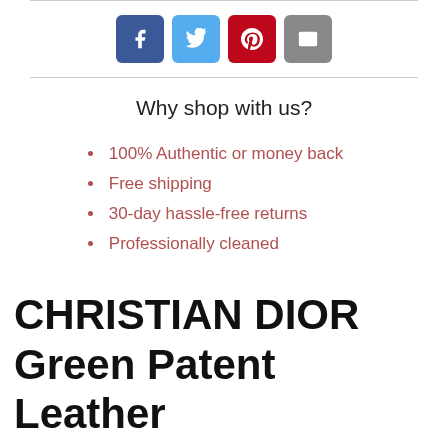[Figure (other): Social sharing buttons: Facebook (blue), Twitter (light blue), Pinterest (red), Email (grey)]
Why shop with us?
100% Authentic or money back
Free shipping
30-day hassle-free returns
Professionally cleaned
CHRISTIAN DIOR Green Patent Leather Cannage Cap Toe Ballet Flats Size 8/38.5